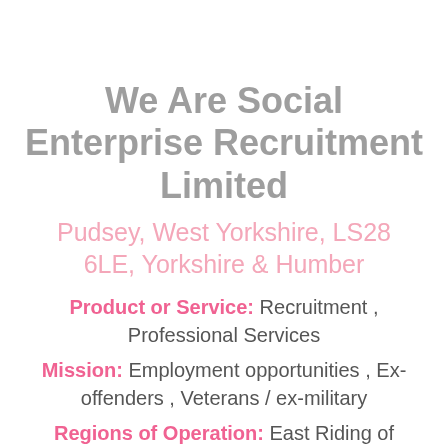We Are Social Enterprise Recruitment Limited
Pudsey, West Yorkshire, LS28 6LE, Yorkshire & Humber
Product or Service: Recruitment , Professional Services
Mission: Employment opportunities , Ex-offenders , Veterans / ex-military
Regions of Operation: East Riding of Yorkshire , South Yorkshire , West Yorkshire , North